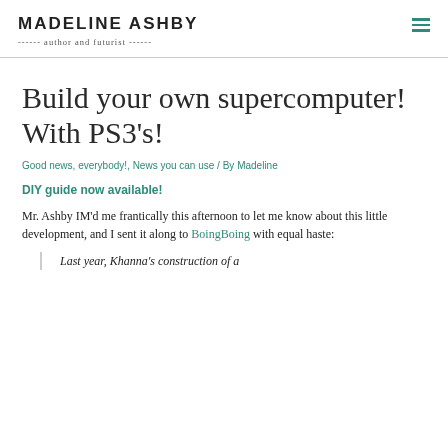MADELINE ASHBY — author and futurist
Build your own supercomputer! With PS3's!
Good news, everybody!, News you can use / By Madeline
DIY guide now available!
Mr. Ashby IM'd me frantically this afternoon to let me know about this little development, and I sent it along to BoingBoing with equal haste:
Last year, Khanna's construction of a